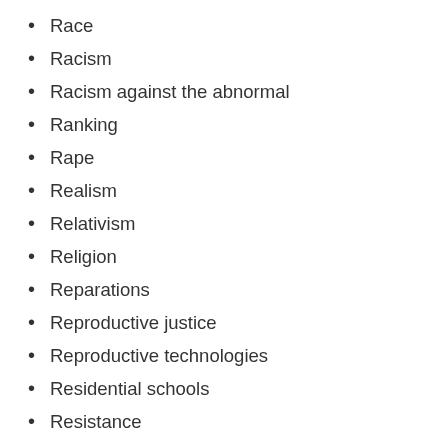Race
Racism
Racism against the abnormal
Ranking
Rape
Realism
Relativism
Religion
Reparations
Reproductive justice
Reproductive technologies
Residential schools
Resistance
Revolution
Rights
Rights discourse
Sanism
Scarcity